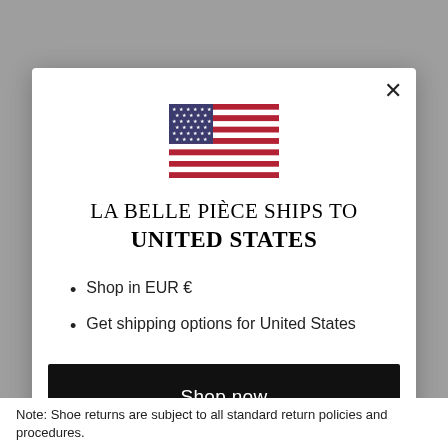[Figure (illustration): US flag icon centered in modal dialog]
LA BELLE PIÈCE SHIPS TO UNITED STATES
Shop in EUR €
Get shipping options for United States
Shop now
Change shipping country
Note: Shoe returns are subject to all standard return policies and procedures.